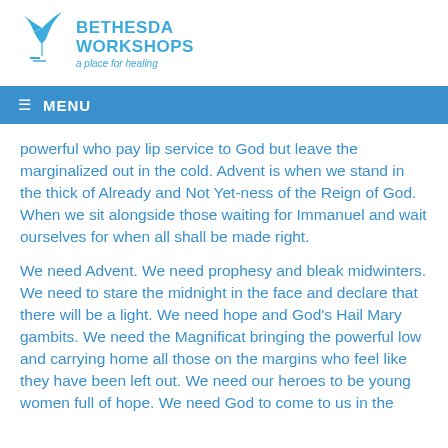[Figure (logo): Bethesda Workshops logo with a dove/bird graphic in blue and the text 'BETHESDA WORKSHOPS a place for healing']
≡  MENU
powerful who pay lip service to God but leave the marginalized out in the cold. Advent is when we stand in the thick of Already and Not Yet-ness of the Reign of God. When we sit alongside those waiting for Immanuel and wait ourselves for when all shall be made right.
We need Advent. We need prophesy and bleak midwinters. We need to stare the midnight in the face and declare that there will be a light. We need hope and God's Hail Mary gambits. We need the Magnificat bringing the powerful low and carrying home all those on the margins who feel like they have been left out. We need our heroes to be young women full of hope. We need God to come to us in the